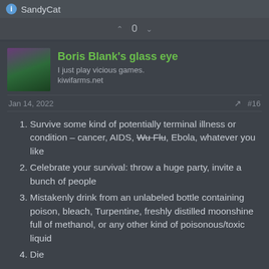SandyCat
0
Boris Blank's glass eye
I just play vicious games.
kiwifarms.net
Jan 14, 2022  #16
Survive some kind of potentially terminal illness or condition – cancer, AIDS, Wu Flu (strikethrough), Ebola, whatever you like
Celebrate your survival: throw a huge party, invite a bunch of people
Mistakenly drink from an unlabeled bottle containing poison, bleach, Turpentine, freshly distilled moonshine full of methanol, or any other kind of poisonous/toxic liquid
Die